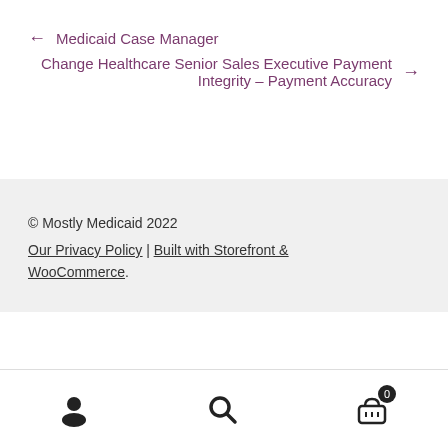← Medicaid Case Manager
Change Healthcare Senior Sales Executive Payment Integrity – Payment Accuracy →
© Mostly Medicaid 2022
Our Privacy Policy | Built with Storefront & WooCommerce.